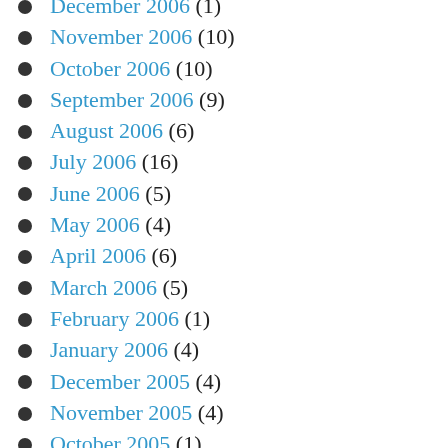December 2006 (1)
November 2006 (10)
October 2006 (10)
September 2006 (9)
August 2006 (6)
July 2006 (16)
June 2006 (5)
May 2006 (4)
April 2006 (6)
March 2006 (5)
February 2006 (1)
January 2006 (4)
December 2005 (4)
November 2005 (4)
October 2005 (1)
September 2005 (2)